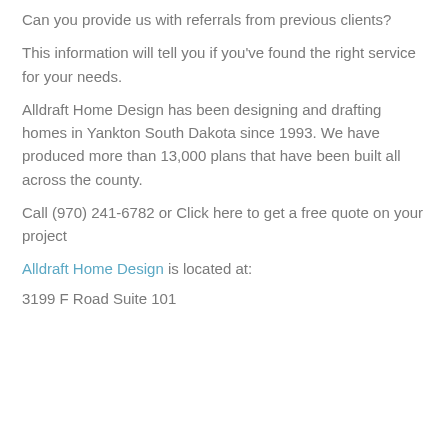Can you provide us with referrals from previous clients?
This information will tell you if you've found the right service for your needs.
Alldraft Home Design has been designing and drafting homes in Yankton South Dakota since 1993. We have produced more than 13,000 plans that have been built all across the county.
Call (970) 241-6782 or Click here to get a free quote on your project
Alldraft Home Design is located at:
3199 F Road Suite 101